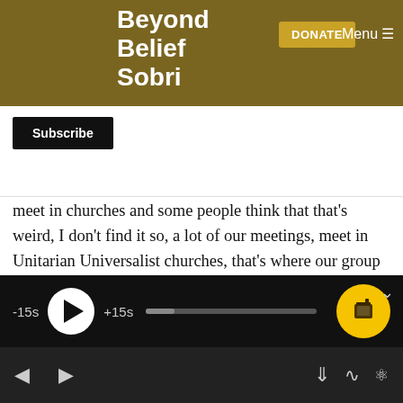Beyond Belief Sobriety
meet in churches and some people think that that's weird, I don't find it so, a lot of our meetings, meet in Unitarian Universalist churches, that's where our group meets and we're very welcome there. The rent is reasonable for us, we pay $20 a meeting.
19:10 John S: And by the way, I think it's
[Figure (screenshot): Audio player UI with -15s skip back, play button, +15s skip forward, progress bar, and tip button on dark background]
[Figure (screenshot): Bottom navigation bar with previous/next episode controls, download, cast, and settings icons]